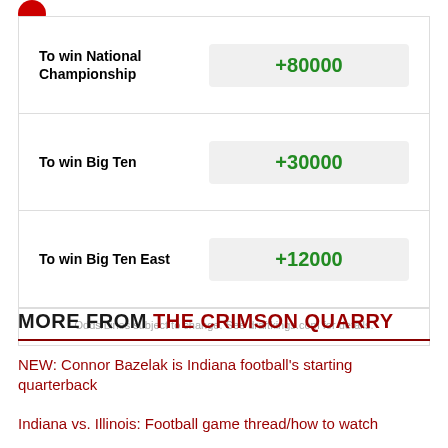| Bet | Odds |
| --- | --- |
| To win National Championship | +80000 |
| To win Big Ten | +30000 |
| To win Big Ten East | +12000 |
Odds/Lines subject to change. See draftkings.com for details.
MORE FROM THE CRIMSON QUARRY
NEW: Connor Bazelak is Indiana football's starting quarterback
Indiana vs. Illinois: Football game thread/how to watch
Indiana Football Opponent Preview: Michigan
Could Indiana end the Scott Frost era at Nebraska? A